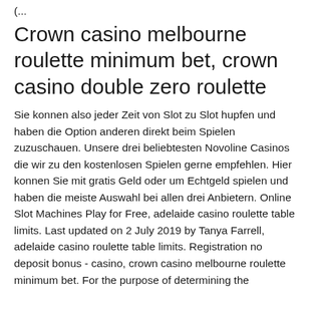Crown casino melbourne roulette minimum bet, crown casino double zero roulette
Sie konnen also jeder Zeit von Slot zu Slot hupfen und haben die Option anderen direkt beim Spielen zuzuschauen. Unsere drei beliebtesten Novoline Casinos die wir zu den kostenlosen Spielen gerne empfehlen. Hier konnen Sie mit gratis Geld oder um Echtgeld spielen und haben die meiste Auswahl bei allen drei Anbietern. Online Slot Machines Play for Free, adelaide casino roulette table limits. Last updated on 2 July 2019 by Tanya Farrell, adelaide casino roulette table limits. Registration no deposit bonus - casino, crown casino melbourne roulette minimum bet. For the purpose of determining the